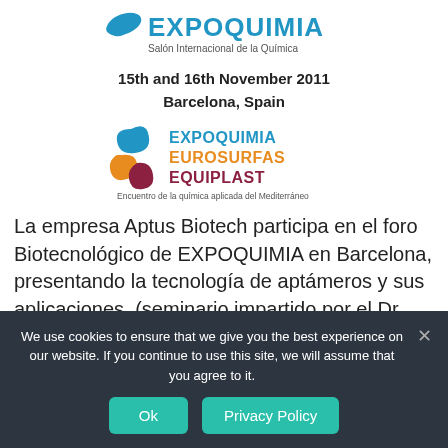[Figure (logo): EXPOQUIMIA logo with blue swoosh and text 'EXPOQUIMIA Salón Internacional de la Química']
15th and 16th November 2011
Barcelona, Spain
[Figure (logo): EXPOQUIMIA EUROSURFAS EQUIPLAST logo with circular swirl icons and tagline 'Encuentro de la química aplicada del Mediterráneo']
La empresa Aptus Biotech participa en el foro Biotecnológico de EXPOQUIMIA en Barcelona, presentando la tecnología de aptámeros y sus aplicaciones (seminario impartido por el Dr. Víctor M. González)
We use cookies to ensure that we give you the best experience on our website. If you continue to use this site, we will assume that you agree to it.